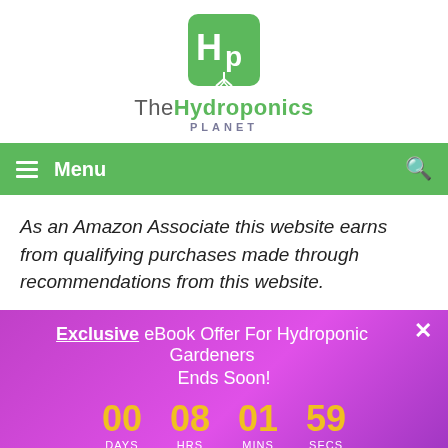[Figure (logo): TheHydroponics Planet logo — green square icon with 'HP' letters and root graphic, with 'TheHydroponics PLANET' text below]
Menu
As an Amazon Associate this website earns from qualifying purchases made through recommendations from this website.
Exclusive eBook Offer For Hydroponic Gardeners Ends Soon!
00 DAYS  08 HRS  01 MINS  59 SECS
SEE THIS DEAL NOW!